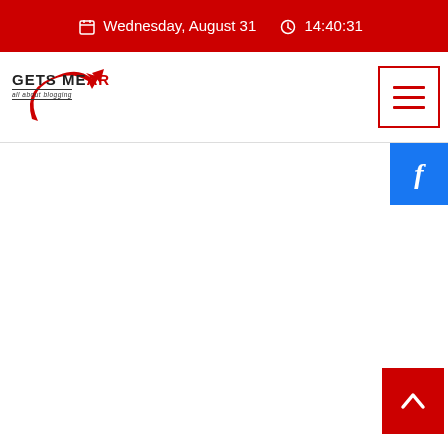Wednesday, August 31  14:40:31
[Figure (logo): Gets Me AR logo with red arrow and tagline 'all about blogging']
[Figure (screenshot): Hamburger menu icon button with red border]
[Figure (screenshot): Facebook share button (blue with f icon)]
[Figure (screenshot): Back to top button (red with upward chevron)]